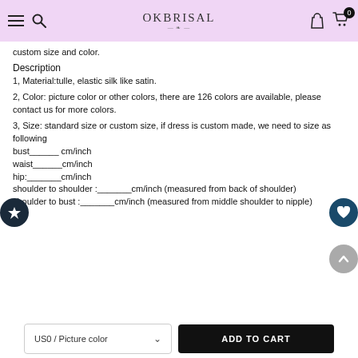OKBRISAL
custom size and color.
Description
1, Material:tulle, elastic silk like satin.
2, Color: picture color or other colors, there are 126 colors are available, please contact us for more colors.
3, Size: standard size or custom size, if dress is custom made, we need to size as following
bust______ cm/inch
waist______cm/inch
hip:_______cm/inch
shoulder to shoulder :_______cm/inch (measured from back of shoulder)
shoulder to bust :_______cm/inch (measured from middle shoulder to nipple)